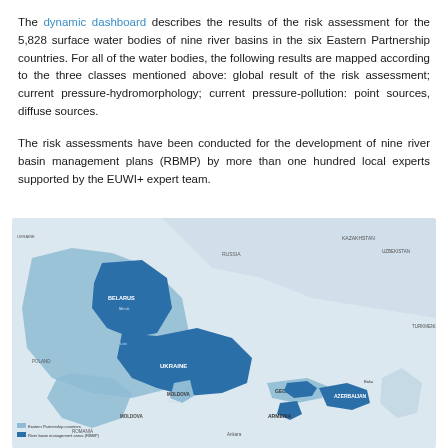The dynamic dashboard describes the results of the risk assessment for the 5,828 surface water bodies of nine river basins in the six Eastern Partnership countries. For all of the water bodies, the following results are mapped according to the three classes mentioned above: global result of the risk assessment; current pressure-hydromorphology; current pressure-pollution: point sources, diffuse sources.
The risk assessments have been conducted for the development of nine river basin management plans (RBMP) by more than one hundred local experts supported by the EUWI+ expert team.
[Figure (map): A geographic map showing Eastern Partnership countries with river basins highlighted in dark and light blue shades, including Ukraine, Belarus, Moldova, Georgia, Armenia, and Azerbaijan. Country and region labels are visible on the map.]